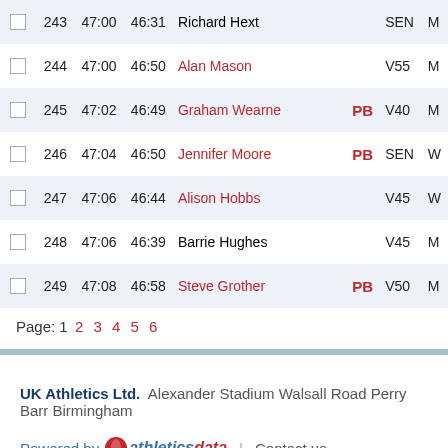|  | # | Target | Time | Name | PB | Cat | Gen |
| --- | --- | --- | --- | --- | --- | --- | --- |
|  | 243 | 47:00 | 46:31 | Richard Hext |  | SEN | M |
|  | 244 | 47:00 | 46:50 | Alan Mason |  | V55 | M |
|  | 245 | 47:02 | 46:49 | Graham Wearne | PB | V40 | M |
|  | 246 | 47:04 | 46:50 | Jennifer Moore | PB | SEN | W |
|  | 247 | 47:06 | 46:44 | Alison Hobbs |  | V45 | W |
|  | 248 | 47:06 | 46:39 | Barrie Hughes |  | V45 | M |
|  | 249 | 47:08 | 46:58 | Steve Grother | PB | V50 | M |
Page: 1 2 3 4 5 6
UK Athletics Ltd. Alexander Stadium Walsall Road Perry Barr Birmingham
Powered by athleticsdata | Contact us